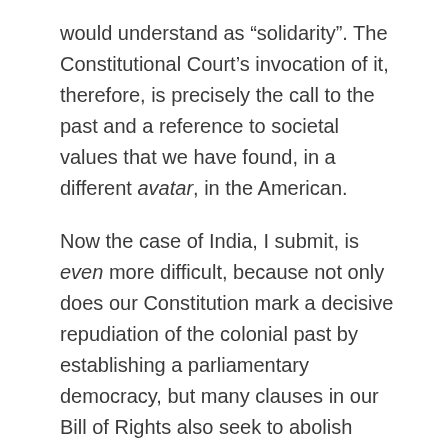would understand as “solidarity”. The Constitutional Court’s invocation of it, therefore, is precisely the call to the past and a reference to societal values that we have found, in a different avatar, in the American.
Now the case of India, I submit, is even more difficult, because not only does our Constitution mark a decisive repudiation of the colonial past by establishing a parliamentary democracy, but many clauses in our Bill of Rights also seek to abolish especially pernicious and invidious aspects of our society that were distinctly non-British (Ambedkar was particularly expressive on this point). See, for instance, restricting entry to temples and other public places (Article 15(2)), untouchability (Article 17) and bonded labour (Article 23), to name just three.